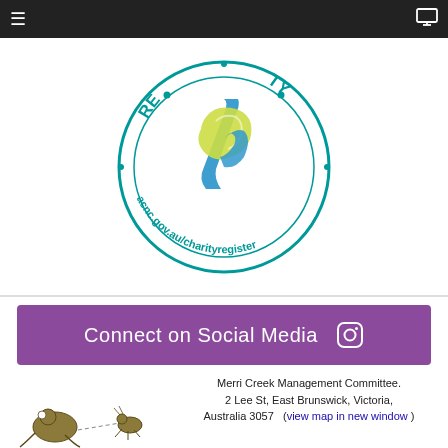≡  (menu) | (monitor icon)
[Figure (logo): ACNC Charity Register circular logo with teal border and text 'acnc.gov.au/charityregister', featuring a blue and green ribbon/check mark graphic in the center. Partial text 'RE' and 'TY' visible at top.]
[Figure (infographic): Purple banner reading 'Connect on Social Media' with an Instagram icon on the right.]
[Figure (illustration): Illustration of a frog and an insect connected by dotted lines, representing Merri Creek fauna.]
Merri Creek Management Committee. 2 Lee St, East Brunswick, Victoria, Australia 3057   (view map in new window )
Phone:(03) 9380 8199    Email: admin@mcmc.org.au   ABN: